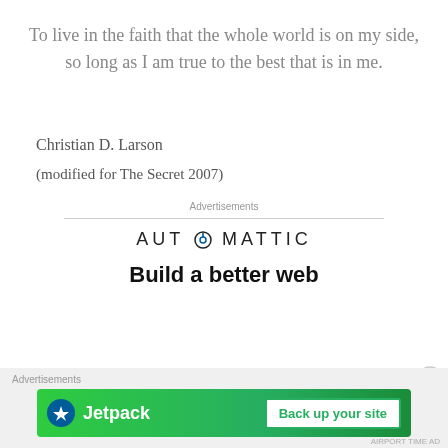To live in the faith that the whole world is on my side, so long as I am true to the best that is in me.
Christian D. Larson
(modified for The Secret 2007)
Advertisements
[Figure (logo): Automattic logo with circular 'O' icon in word AUTOMATTIC]
Build a better web
Advertisements
[Figure (infographic): Jetpack banner ad with green background, Jetpack logo with lightning bolt icon, and 'Back up your site' button]